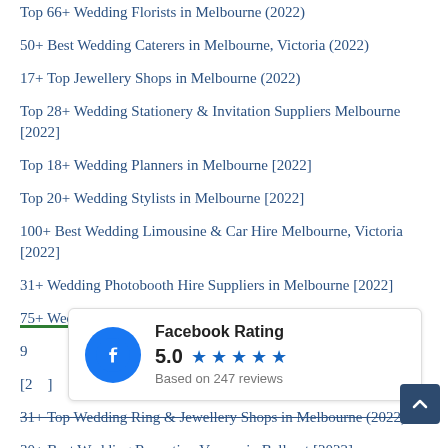Top 66+ Wedding Florists in Melbourne (2022)
50+ Best Wedding Caterers in Melbourne, Victoria (2022)
17+ Top Jewellery Shops in Melbourne (2022)
Top 28+ Wedding Stationery & Invitation Suppliers Melbourne [2022]
Top 18+ Wedding Planners in Melbourne [2022]
Top 20+ Wedding Stylists in Melbourne [2022]
100+ Best Wedding Limousine & Car Hire Melbourne, Victoria [2022]
31+ Wedding Photobooth Hire Suppliers in Melbourne [2022]
75+ Wedding Videographers in Melbourne, Victoria [2022]
9[...] Beauty Salons in Melbourne [2...]
31+ Top Wedding Ring & Jewellery Shops in Melbourne (2022)
30+ Best Wedding Reception Venues in Ballarat [2022]
[Figure (infographic): Facebook Rating widget showing 5.0 stars based on 247 reviews]